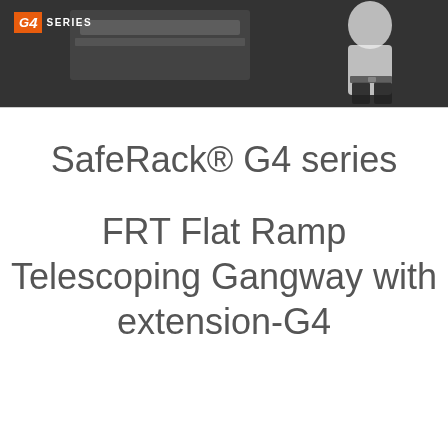[Figure (photo): Banner photo showing a person in a white shirt against a dark background with equipment/ramp visible. G4 SERIES logo displayed in lower-left corner of the image.]
SafeRack® G4 series
FRT Flat Ramp Telescoping Gangway with extension-G4